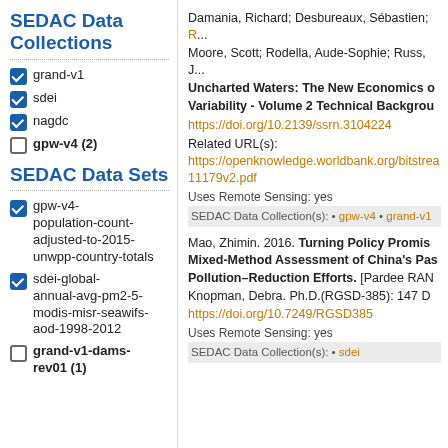SEDAC Data Collections
grand-v1 (checked)
sdei (checked)
nagdc (checked)
gpw-v4 (2) (unchecked)
SEDAC Data Sets
gpw-v4-population-count-adjusted-to-2015-unwpp-country-totals (checked)
sdei-global-annual-avg-pm2-5-modis-misr-seawifs-aod-1998-2012 (checked)
grand-v1-dams-rev01 (1) (unchecked)
Damania, Richard; Desbureaux, Sébastien; Moore, Scott; Rodella, Aude-Sophie; Russ, J. Uncharted Waters: The New Economics of Water Scarcity and Variability - Volume 2 Technical Background Papers. https://doi.org/10.2139/ssrn.3104224 Related URL(s): https://openknowledge.worldbank.org/bitstream/...11179v2.pdf Uses Remote Sensing: yes SEDAC Data Collection(s): • gpw-v4 • grand-v1
Mao, Zhimin. 2016. Turning Policy Promises into Action: A Mixed-Method Assessment of China's Passenger Car Pollution–Reduction Efforts. [Pardee RAND] Knopman, Debra. Ph.D.(RGSD-385): 147 D. https://doi.org/10.7249/RGSD385 Uses Remote Sensing: yes SEDAC Data Collection(s): • sdei